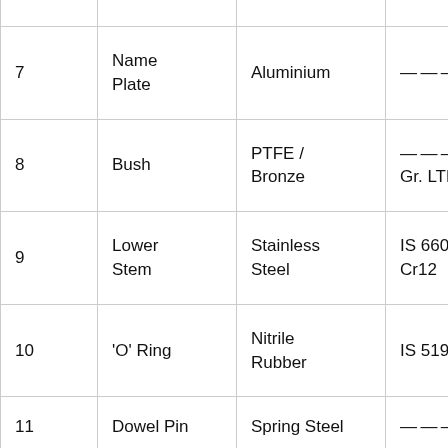| No. | Name | Material | Standard |
| --- | --- | --- | --- |
| 7 | Name Plate | Aluminium | — — — |
| 8 | Bush | PTFE / Bronze | — — — / IS 318 Gr. LTB 2 |
| 9 | Lower Stem | Stainless Steel | IS 6603 Gr. 1 Cr12 |
| 10 | 'O' Ring | Nitrile Rubber | IS 5192 – 1 |
| 11 | Dowel Pin | Spring Steel | — — — |
| 12 | C – Sunk Screw & Nut | Carbon Steel | — — — |